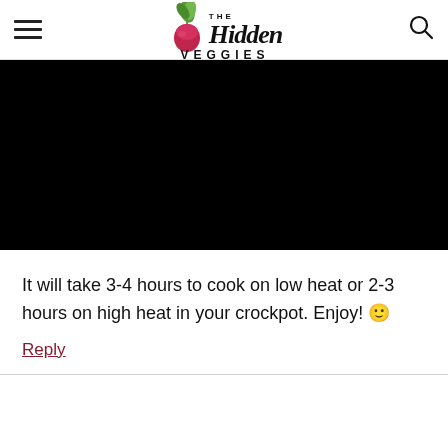The Hidden Veggies
[Figure (photo): Black rectangle representing a dark/obscured food photo]
It will take 3-4 hours to cook on low heat or 2-3 hours on high heat in your crockpot. Enjoy! 🙂
Reply